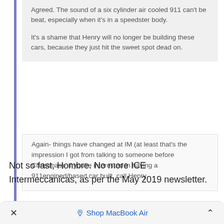Agreed. The sound of a six cylinder air cooled 911 can't be beat, especially when it's in a speedster body.

It's a shame that Henry will no longer be building these cars, because they just hit the sweet spot dead on.
Again- things have changed at IM (at least that's the impression I got from talking to someone before Christmas)- if you're interested in having a 911engined/based car built, call Henry
Not so fast, Hombre. No more ICE Intermeccanicas, as per the May 2019 newsletter.
× Shop MacBook Air ^